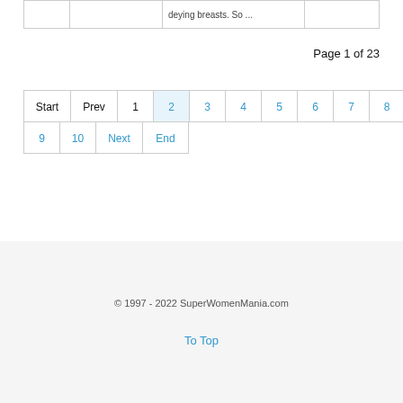|  |  | deying breasts. So ... |  |
| --- | --- | --- | --- |
Page 1 of 23
Start  Prev  1  2  3  4  5  6  7  8  9  10  Next  End
© 1997 - 2022 SuperWomenMania.com
To Top